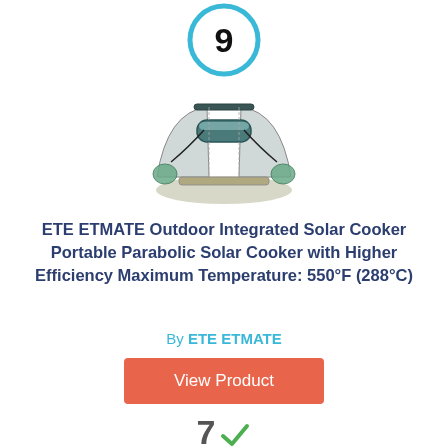[Figure (other): Ranking badge showing number 9 in a blue circle]
[Figure (photo): ETE ETMATE portable parabolic solar cooker product photo]
ETE ETMATE Outdoor Integrated Solar Cooker Portable Parabolic Solar Cooker with Higher Efficiency Maximum Temperature: 550°F (288°C)
By ETE ETMATE
View Product
7 Score